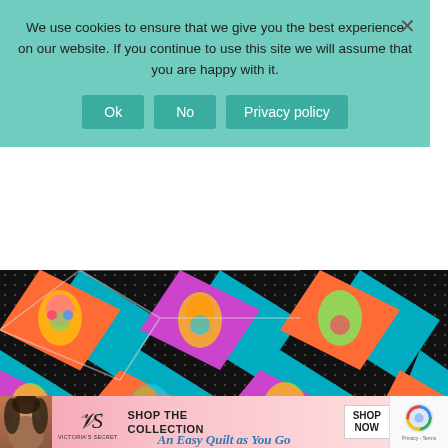We use cookies to ensure that we give you the best experience on our website. If you continue to use this site we will assume that you are happy with it.
[Figure (screenshot): Cookie consent overlay with Ok, No, and Privacy policy buttons on a teal/mint background, with a close X button in the top right]
[Figure (photo): Colorful quilt laid on a cutting mat, featuring black with white polka dot fabric, bright teal solid squares, and multicolored sugar skull/cat print fabric arranged in a diagonal pattern. Watermark reads Ruffled Purse in bottom left. CLOSE button in bottom right.]
[Figure (screenshot): Victoria's Secret advertisement banner with a model, VS logo, text SHOP THE COLLECTION and SHOP NOW button, with reCAPTCHA widget on the right]
An Easy Quilt as You Go